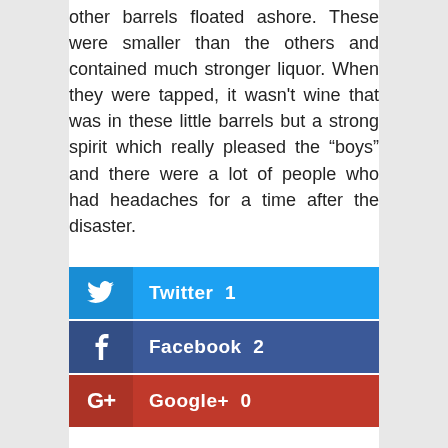other barrels floated ashore. These were smaller than the others and contained much stronger liquor. When they were tapped, it wasn't wine that was in these little barrels but a strong spirit which really pleased the “boys” and there were a lot of people who had headaches for a time after the disaster.
[Figure (infographic): Social share buttons: Twitter 1, Facebook 2, Google+ 0]